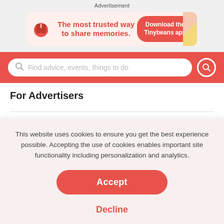Advertisement
[Figure (illustration): Tinybeans ad banner: logo with plant/seedling icon, text 'The most trusted way to share memories.' and a red button 'Download the Tinybeans app']
[Figure (screenshot): Red search bar with placeholder text 'Find advice, events, things to do' and a red circular search button]
For Advertisers
This website uses cookies to ensure you get the best experience possible. Accepting the use of cookies enables important site functionality including personalization and analytics.
Accept
Decline